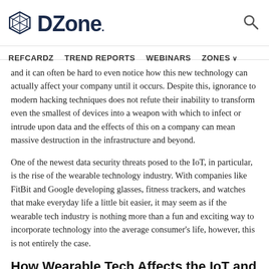DZone. REFCARDZ  TREND REPORTS  WEBINARS  ZONES
and it can often be hard to even notice how this new technology can actually affect your company until it occurs. Despite this, ignorance to modern hacking techniques does not refute their inability to transform even the smallest of devices into a weapon with which to infect or intrude upon data and the effects of this on a company can mean massive destruction in the infrastructure and beyond.
One of the newest data security threats posed to the IoT, in particular, is the rise of the wearable technology industry. With companies like FitBit and Google developing glasses, fitness trackers, and watches that make everyday life a little bit easier, it may seem as if the wearable tech industry is nothing more than a fun and exciting way to incorporate technology into the average consumer's life, however, this is not entirely the case.
How Wearable Tech Affects the IoT and the Cloud
The IoT and the countless devices being connected within it have been